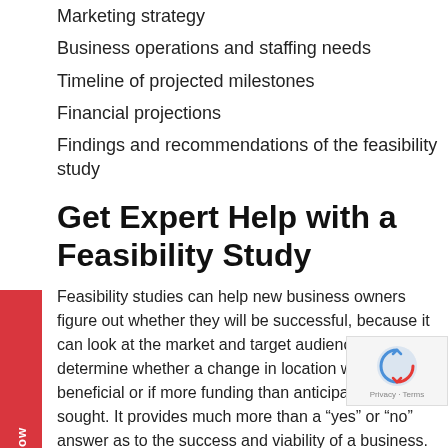Marketing strategy
Business operations and staffing needs
Timeline of projected milestones
Financial projections
Findings and recommendations of the feasibility study
Get Expert Help with a Feasibility Study
Feasibility studies can help new business owners figure out whether they will be successful, because it can look at the market and target audience. It can help determine whether a change in location would be beneficial or if more funding than anticipated should be sought. It provides much more than a “yes” or “no” answer as to the success and viability of a business.
Experts are available to help you figure out whether yo...